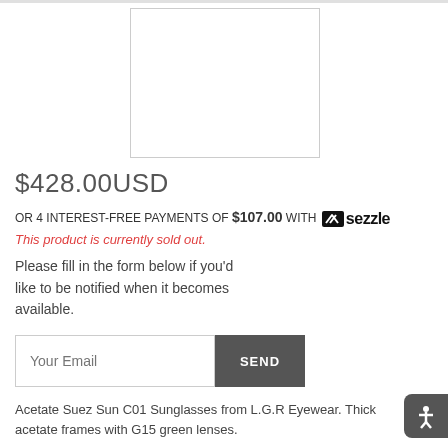[Figure (photo): Product image placeholder — white rectangle with gray border]
$428.00USD
OR 4 INTEREST-FREE PAYMENTS OF $107.00 WITH Sezzle
This product is currently sold out.
Please fill in the form below if you'd like to be notified when it becomes available.
Your Email
SEND
Acetate Suez Sun C01 Sunglasses from L.G.R Eyewear. Thick acetate frames with G15 green lenses.